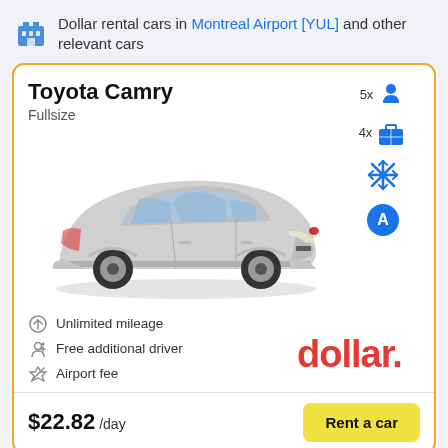Dollar rental cars in Montreal Airport [YUL] and other relevant cars
Toyota Camry
Fullsize
[Figure (photo): Silver Toyota Camry sedan, 3/4 front view]
5x passengers
4x luggage
Air conditioning (snowflake icon)
Automatic transmission (A icon)
Unlimited mileage
Free additional driver
Airport fee
[Figure (logo): Dollar car rental logo in red]
$22.82 /day
Rent a car